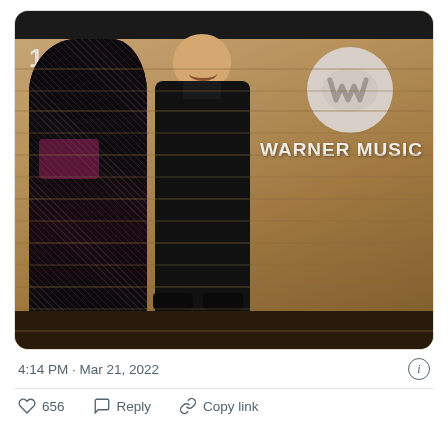[Figure (photo): A man in a black suit standing next to a cardboard cutout of a female performer in a black outfit, in front of a Warner Music wooden wall backdrop with the Warner Music logo and text.]
4:14 PM · Mar 21, 2022
656  Reply  Copy link